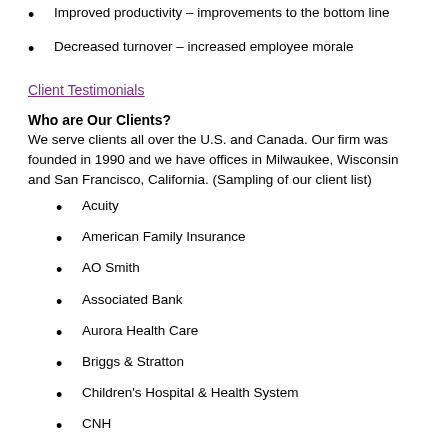Improved productivity – improvements to the bottom line
Decreased turnover – increased employee morale
Client Testimonials
Who are Our Clients?
We serve clients all over the U.S. and Canada. Our firm was founded in 1990 and we have offices in Milwaukee, Wisconsin and San Francisco, California. (Sampling of our client list)
Acuity
American Family Insurance
AO Smith
Associated Bank
Aurora Health Care
Briggs & Stratton
Children's Hospital & Health System
CNH
Cousins Submarines
Froedtert Hospital